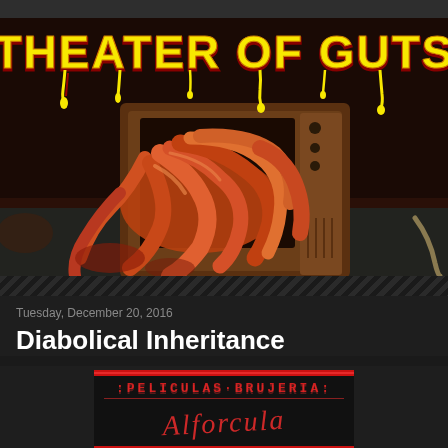[Figure (photo): Theater of Guts horror blog header image. Dark horror-themed banner showing intestines/guts spilling out of a vintage wooden television set. Yellow dripping text 'THEATER OF GUTS' displayed at the top of the image.]
Tuesday, December 20, 2016
Diabolical Inheritance
[Figure (photo): Bottom portion of a movie poster or cover image with red decorative border. Text reads 'PELICULAS BRUJERIA' at the top in a pixelated/retro font, followed by cursive stylized text below.]